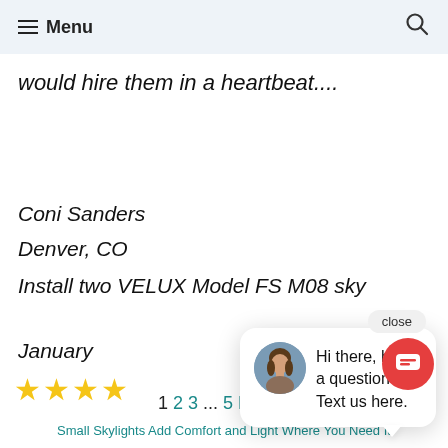Menu
would hire them in a heartbeat....
Coni Sanders
Denver, CO
Install two VELUX Model FS M08 sky
January
[Figure (other): Four gold star rating]
[Figure (other): Chat popup with avatar photo of a woman, message: Hi there, have a question? Text us here. Close button visible.]
1 2 3 ... 5 Next »
Small Skylights Add Comfort and Light Where You Need It